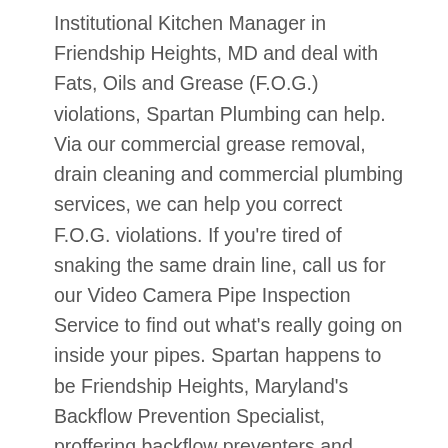Institutional Kitchen Manager in Friendship Heights, MD and deal with Fats, Oils and Grease (F.O.G.) violations, Spartan Plumbing can help. Via our commercial grease removal, drain cleaning and commercial plumbing services, we can help you correct F.O.G. violations. If you're tired of snaking the same drain line, call us for our Video Camera Pipe Inspection Service to find out what's really going on inside your pipes. Spartan happens to be Friendship Heights, Maryland's Backflow Prevention Specialist, proffering backflow preventers and backflow prevention testing services. A Spartan Plumbing expert is qualified to handle the following commercial plumbing services for your Friendship Heights, Maryland (MD) commercial building or business:
24 Hour Emergency Servicing for Plumbing and Drain Cleaning